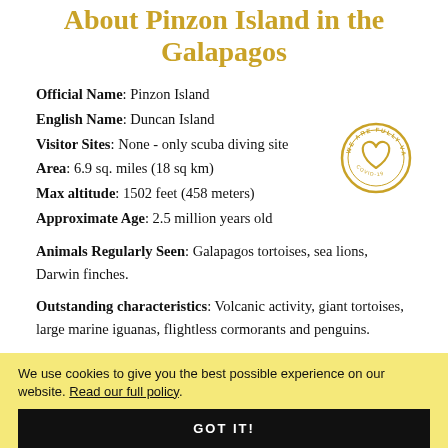About Pinzon Island in the Galapagos
Official Name: Pinzon Island
English Name: Duncan Island
Visitor Sites: None - only scuba diving site
Area: 6.9 sq. miles (18 sq km)
Max altitude: 1502 feet (458 meters)
Approximate Age: 2.5 million years old
[Figure (illustration): Circular stamp/badge with heart icon reading 'WE ARE FULLY VACCINATED' around the border]
Animals Regularly Seen: Galapagos tortoises, sea lions, Darwin finches.
Outstanding characteristics: Volcanic activity, giant tortoises, large marine iguanas, flightless cormorants and penguins.
Vegetation: Typical of arid zone, principally Opuntia
We use cookies to give you the best possible experience on our website. Read our full policy.
GOT IT!